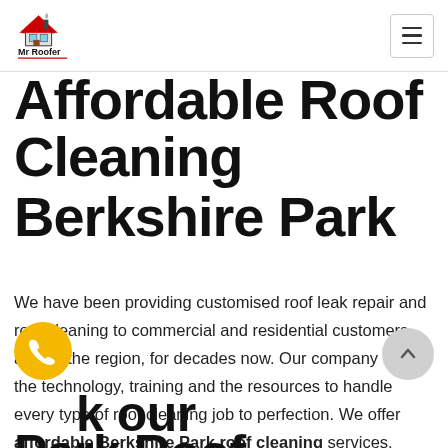Mr Roofer [logo] [hamburger menu]
Affordable Roof Cleaning Berkshire Park
We have been providing customised roof leak repair and roof cleaning to commercial and residential customers across the region, for decades now. Our company has the technology, training and the resources to handle every type of roof cleaning job to perfection. We offer affordable Berkshire Park roof cleaning services, without cutting corners in any stage of the job.
Book our Berkshire Park Roof Cleaning